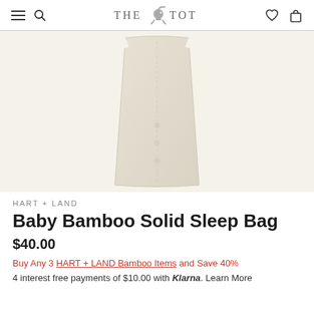THE TOT
[Figure (photo): A cream/off-white baby bamboo sleep bag shown flat, displaying the front of the garment with a trapezoidal shape wider at the top and narrowing at the bottom.]
HART + LAND
Baby Bamboo Solid Sleep Bag
$40.00
Buy Any 3 HART + LAND Bamboo Items and Save 40%
4 interest free payments of $10.00 with Klarna. Learn More